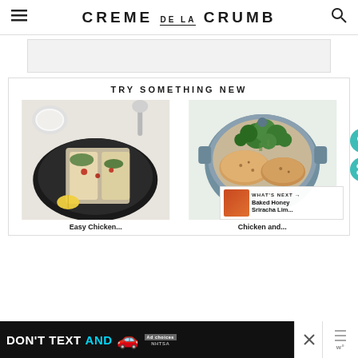CREME DE LA CRUMB
[Figure (photo): Top ad banner area, gray background]
TRY SOMETHING NEW
[Figure (photo): Food photo: Easy Chicken wraps/quesadillas in a black skillet with lemon wedges and dipping sauce]
[Figure (photo): Food photo: Chicken and broccoli in a blue/gray dutch oven pot]
Easy Chicken...
Chicken and...
[Figure (photo): What's Next banner: Baked Honey Sriracha Lim...]
[Figure (photo): Bottom advertisement banner: DON'T TEXT AND [car emoji] - ad by NHTSA]